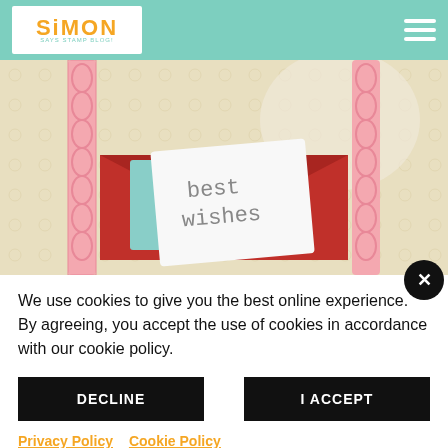Simon Says Stamp Blog!
[Figure (photo): Close-up craft photo showing a 'best wishes' card nestled inside a red envelope with pink decorative lace border and floral patterned background paper]
We use cookies to give you the best online experience. By agreeing, you accept the use of cookies in accordance with our cookie policy.
DECLINE
I ACCEPT
Privacy Policy   Cookie Policy
[Figure (photo): Partial craft photo showing decorative figures at the bottom of the page]